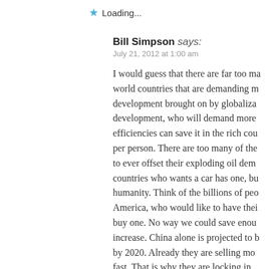Loading...
Bill Simpson says:
July 21, 2012 at 1:00 am
I would guess that there are far too many world countries that are demanding more development brought on by globalization development, who will demand more efficiencies can save it in the rich countries per person. There are too many of them to ever offset their exploding oil demand. countries who wants a car has one, but humanity. Think of the billions of people in America, who would like to have their buy one. No way we could save enough increase. China alone is projected to have by 2020. Already they are selling more fast. That is why they are locking in